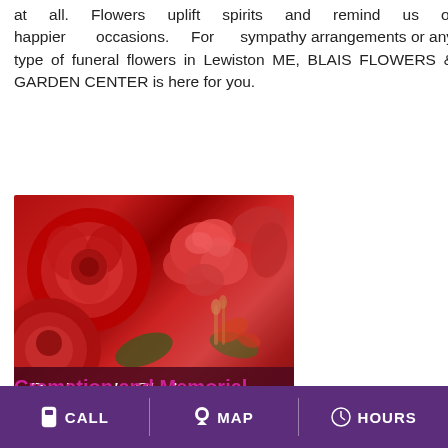at all. Flowers uplift spirits and remind us of happier occasions. For sympathy arrangements or any type of funeral flowers in Lewiston ME, BLAIS FLOWERS & GARDEN CENTER is here for you.
[Figure (photo): Photo of red roses and carnations arrangement with a dark red overlay band at bottom reading 'Designer's Choice' in italic white script and 'MEMORIAL FUNERAL FLOWERS' in bold white caps]
Cremation and Memorial
CALL   MAP   HOURS